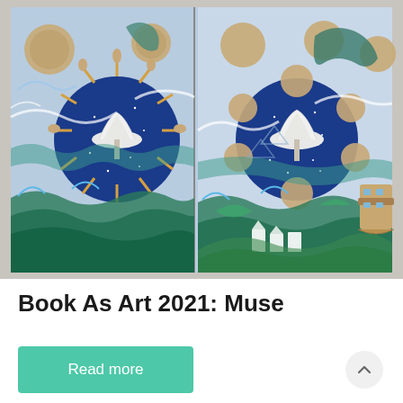[Figure (photo): An open accordion-style artist's book displayed on a light gray surface. The pages feature elaborate hand-drawn and colored illustrations in shades of blue, teal, green, and beige, depicting swirling ocean waves, celestial circles with star patterns, human figures, buildings, sea creatures, and Noah's ark on the right side. Two circular centers have white paper folded into mushroom or fan shapes rising from the pages. A vertical fold/crease divides the image in the center.]
Book As Art 2021: Muse
Read more